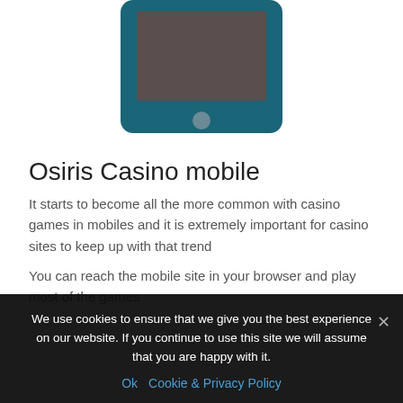[Figure (illustration): Illustration of a tablet/mobile device with a dark teal/blue border and a dark brownish-gray screen rectangle, with a small circular home button below the screen]
Osiris Casino mobile
It starts to become all the more common with casino games in mobiles and it is extremely important for casino sites to keep up with that trend
You can reach the mobile site in your browser and play most of the games
We use cookies to ensure that we give you the best experience on our website. If you continue to use this site we will assume that you are happy with it.
Ok   Cookie & Privacy Policy